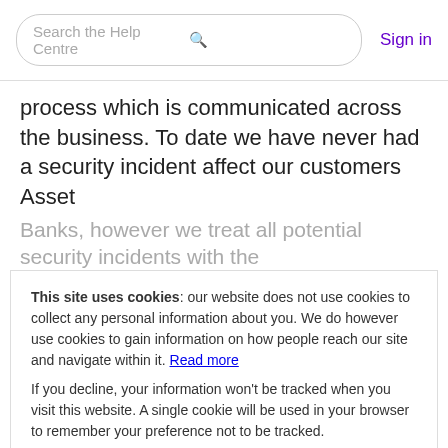Search the Help Centre   Sign in
process which is communicated across the business. To date we have never had a security incident affect our customers Asset
Banks, however we treat all potential security incidents with the
This site uses cookies: our website does not use cookies to collect any personal information about you. We do however use cookies to gain information on how people reach our site and navigate within it. Read more
If you decline, your information won’t be tracked when you visit this website. A single cookie will be used in your browser to remember your preference not to be tracked.
Settings
Accept
Decline